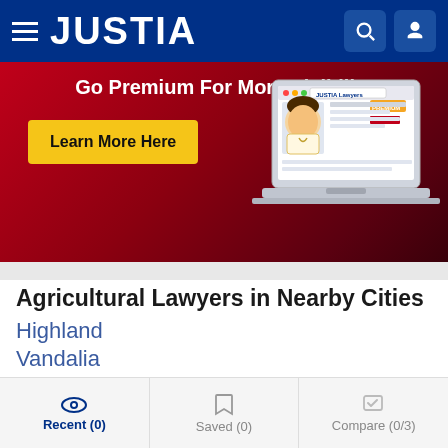JUSTIA
[Figure (screenshot): Justia Go Premium For More Visibility banner ad with a laptop illustration and 'Learn More Here' yellow button]
Agricultural Lawyers in Nearby Cities
Highland
Vandalia
Hillsboro
Carlyle
Breese
Edwardsville
Recent (0)   Saved (0)   Compare (0/3)